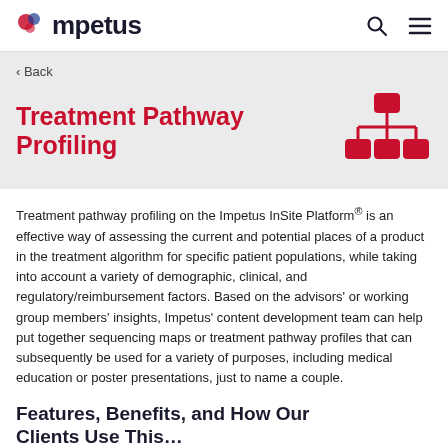Impetus
< Back
Treatment Pathway Profiling
Treatment pathway profiling on the Impetus InSite Platform® is an effective way of assessing the current and potential places of a product in the treatment algorithm for specific patient populations, while taking into account a variety of demographic, clinical, and regulatory/reimbursement factors. Based on the advisors' or working group members' insights, Impetus' content development team can help put together sequencing maps or treatment pathway profiles that can subsequently be used for a variety of purposes, including medical education or poster presentations, just to name a couple.
Features, Benefits, and How Our Clients Use This…